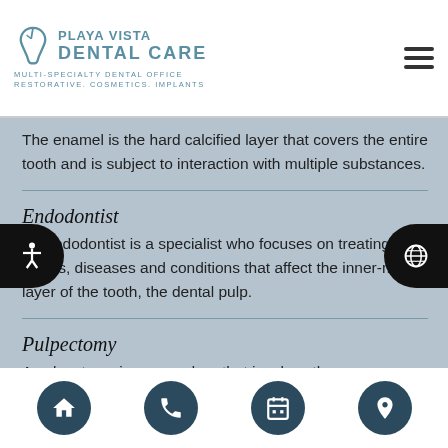PLAYA VISTA DENTAL CARE - Multi-Specialty Dental Office. Restorative. Cosmetics. Implants.
The enamel is the hard calcified layer that covers the entire tooth and is subject to interaction with multiple substances.
Endodontist
An endodontist is a specialist who focuses on treating issues, diseases and conditions that affect the inner-most layer of the tooth, the dental pulp.
Pulpectomy
A pulpectomy is a procedure that involves the